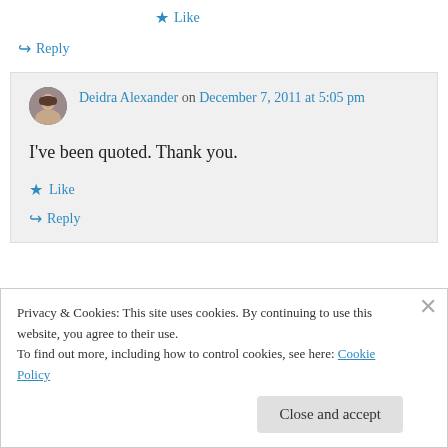★ Like
↪ Reply
Deidra Alexander on December 7, 2011 at 5:05 pm
I've been quoted. Thank you.
★ Like
↪ Reply
Privacy & Cookies: This site uses cookies. By continuing to use this website, you agree to their use.
To find out more, including how to control cookies, see here: Cookie Policy
Close and accept